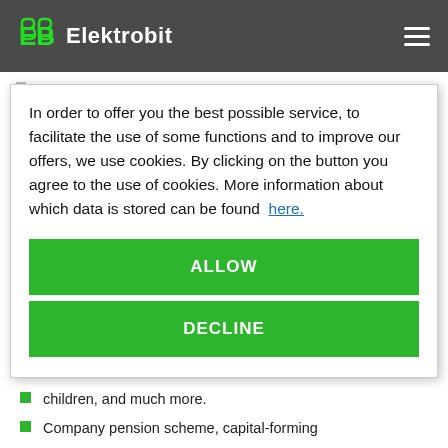Elektrobit
In order to offer you the best possible service, to facilitate the use of some functions and to improve our offers, we use cookies. By clicking on the button you agree to the use of cookies. More information about which data is stored can be found here.
ALLOW
DECLINE
children, and much more.
Company pension scheme, capital-forming